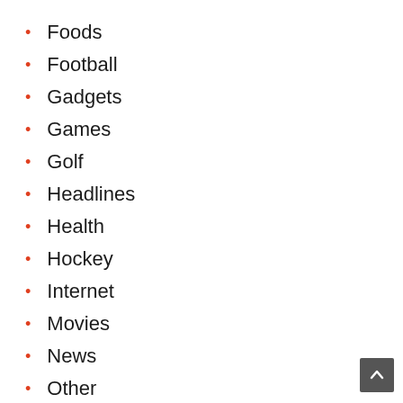Foods
Football
Gadgets
Games
Golf
Headlines
Health
Hockey
Internet
Movies
News
Other
Politics